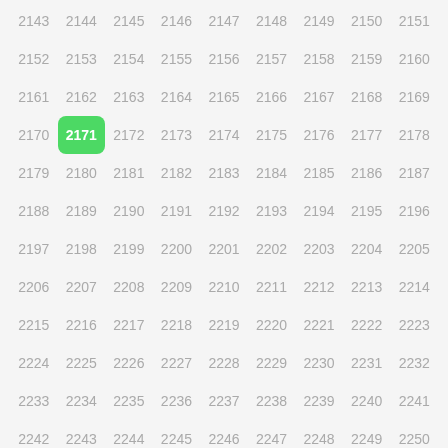[Figure (other): A grid of numbers from 2143 to 2259 arranged in rows of 9, with number 2171 highlighted in a green rounded square.]